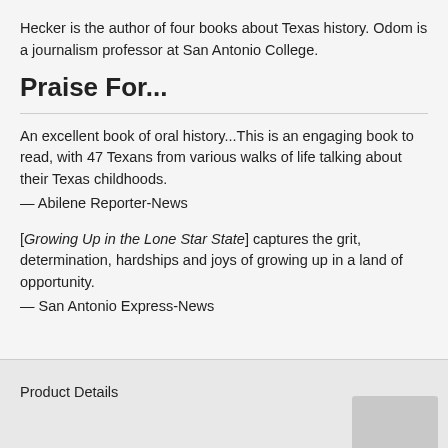Hecker is the author of four books about Texas history. Odom is a journalism professor at San Antonio College.
Praise For...
An excellent book of oral history...This is an engaging book to read, with 47 Texans from various walks of life talking about their Texas childhoods.
— Abilene Reporter-News
[Growing Up in the Lone Star State] captures the grit, determination, hardships and joys of growing up in a land of opportunity.
— San Antonio Express-News
Product Details